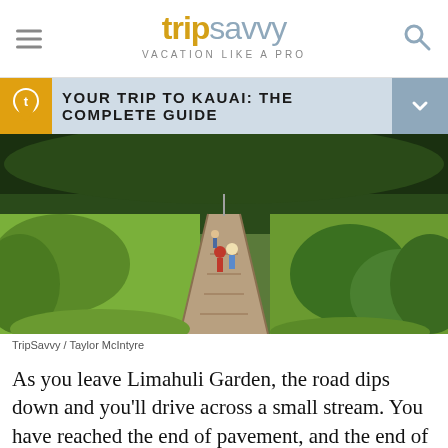tripsavvy VACATION LIKE A PRO
YOUR TRIP TO KAUAI: THE COMPLETE GUIDE
[Figure (photo): People walking along a wooden boardwalk path through lush green tropical fields and forest in Kauai, Hawaii]
TripSavvy / Taylor McIntyre
As you leave Limahuli Garden, the road dips down and you'll drive across a small stream. You have reached the end of pavement, and the end of the road at the 220...